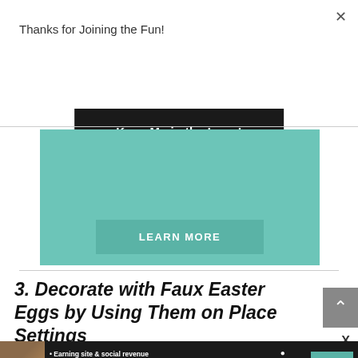Thanks for Joining the Fun!
Keep Me in the Loop!
[Figure (other): Teal/turquoise advertisement banner with a LEARN MORE button]
3. Decorate with Faux Easter Eggs by Using Them on Place Settings
[Figure (infographic): Bottom advertisement banner for SHE Partner Network with bullet points: Earning site & social revenue, Traffic growth, Speaking on our stages. Includes a LEARN MORE button.]